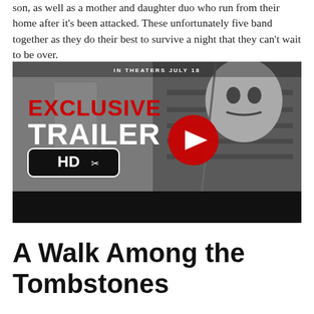son, as well as a mother and daughter duo who run from their home after it's been attacked. These unfortunately five band together as they do their best to survive a night that they can't wait to be over.
[Figure (screenshot): YouTube video thumbnail for an exclusive HD trailer, showing a masked figure in a hoodie. Text reads 'IN THEATERS JULY 18', 'EXCLUSIVE TRAILER' in red, 'HD' badge, and a YouTube play button.]
A Walk Among the Tombstones